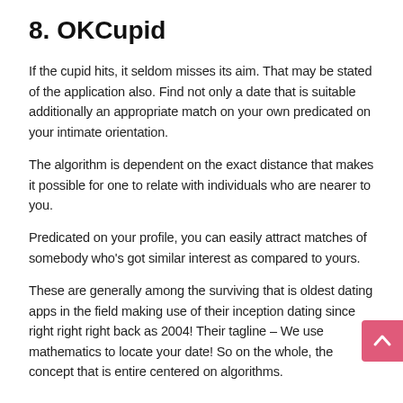8. OKCupid
If the cupid hits, it seldom misses its aim. That may be stated of the application also. Find not only a date that is suitable additionally an appropriate match on your own predicated on your intimate orientation.
The algorithm is dependent on the exact distance that makes it possible for one to relate with individuals who are nearer to you.
Predicated on your profile, you can easily attract matches of somebody who’s got similar interest as compared to yours.
These are generally among the surviving that is oldest dating apps in the field making use of their inception dating since right right right back as 2004! Their tagline – We use mathematics to locate your date! So on the whole, the concept that is entire centered on algorithms.